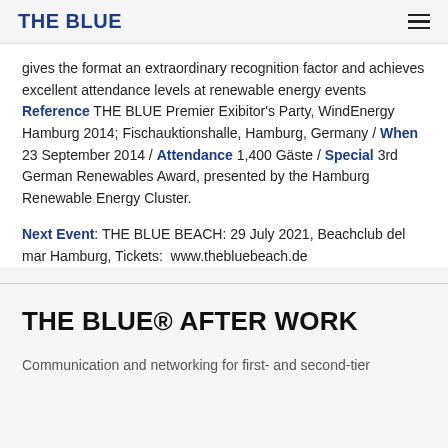THE BLUE
gives the format an extraordinary recognition factor and achieves excellent attendance levels at renewable energy events Reference THE BLUE Premier Exibitor's Party, WindEnergy Hamburg 2014; Fischauktionshalle, Hamburg, Germany / When 23 September 2014 / Attendance 1,400 Gäste / Special 3rd German Renewables Award, presented by the Hamburg Renewable Energy Cluster.
Next Event: THE BLUE BEACH: 29 July 2021, Beachclub del mar Hamburg, Tickets: www.thebluebeach.de
THE BLUE® AFTER WORK
Communication and networking for first- and second-tier